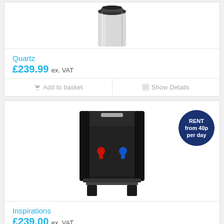[Figure (photo): Top portion of a silver/stainless steel water cooler dispenser on white background]
Quartz
£239.99 ex. VAT
Add to basket
Show Details
[Figure (photo): Black floor-standing water cooler dispenser with red and blue taps, shown with a dark navy circular badge reading 'RENT from 40p per day']
Inspirations
£239.00 ex. VAT